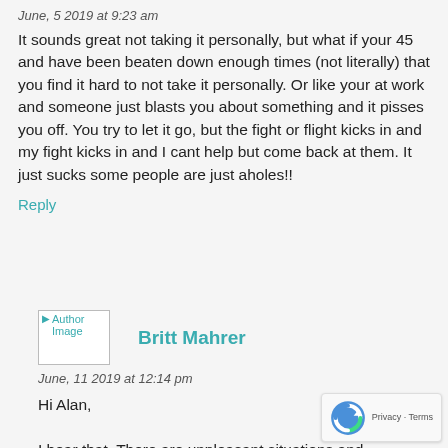June, 5 2019 at 9:23 am
It sounds great not taking it personally, but what if your 45 and have been beaten down enough times (not literally) that you find it hard to not take it personally. Or like your at work and someone just blasts you about something and it pisses you off. You try to let it go, but the fight or flight kicks in and my fight kicks in and I cant help but come back at them. It just sucks some people are just aholes!!
Reply
[Figure (photo): Author image placeholder]
Britt Mahrer
June, 11 2019 at 12:14 pm
Hi Alan,
I hear that. There are unpleasant situations and in our lives that we can't avoid. In my opinion, it's important to distinguish the difference between not